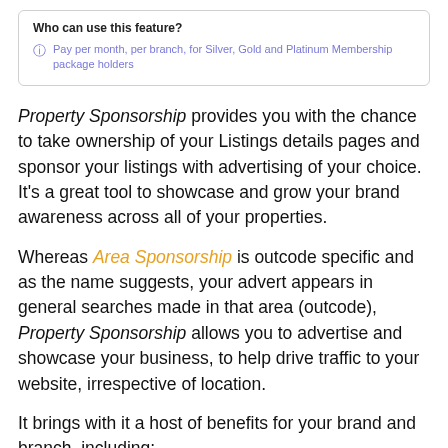| Who can use this feature? |
| --- |
| Pay per month, per branch, for Silver, Gold and Platinum Membership package holders |
Property Sponsorship provides you with the chance to take ownership of your Listings details pages and sponsor your listings with advertising of your choice. It's a great tool to showcase and grow your brand awareness across all of your properties.
Whereas Area Sponsorship is outcode specific and as the name suggests, your advert appears in general searches made in that area (outcode), Property Sponsorship allows you to advertise and showcase your business, to help drive traffic to your website, irrespective of location.
It brings with it a host of benefits for your brand and branch, including: